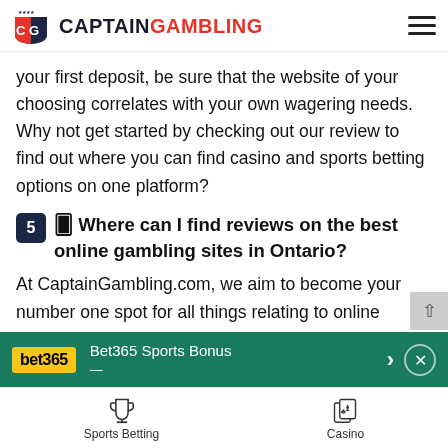CAPTAIN GAMBLING
your first deposit, be sure that the website of your choosing correlates with your own wagering needs. Why not get started by checking out our review to find out where you can find casino and sports betting options on one platform?
5 🂠 Where can I find reviews on the best online gambling sites in Ontario?
At CaptainGambling.com, we aim to become your number one spot for all things relating to online gambling in Ontario. We provide a wealth of knowledge and resources that can help you find everything you
[Figure (screenshot): Bet365 Sports Bonus advertisement banner with green background, bet365 logo, arrow and close button]
[Figure (infographic): Bottom navigation bar with Sports Betting trophy icon and Casino playing cards icon]